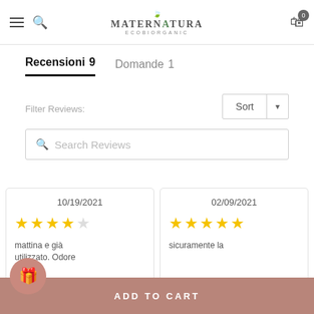MaterNatura ECOBIORGANIC — header navigation
Recensioni 9   Domande 1
Filter Reviews:
Sort
Search Reviews
10/19/2021 — 4 stars
02/09/2021 — 5 stars
mattina e già utilizzato. Odore
sicuramente la
ADD TO CART